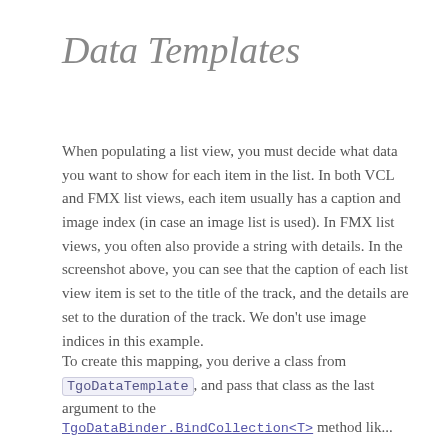Data Templates
When populating a list view, you must decide what data you want to show for each item in the list. In both VCL and FMX list views, each item usually has a caption and image index (in case an image list is used). In FMX list views, you often also provide a string with details. In the screenshot above, you can see that the caption of each list view item is set to the title of the track, and the details are set to the duration of the track. We don't use image indices in this example.
To create this mapping, you derive a class from TgoDataTemplate, and pass that class as the last argument to the
TgoDataBinder.BindCollection<T> method lik...